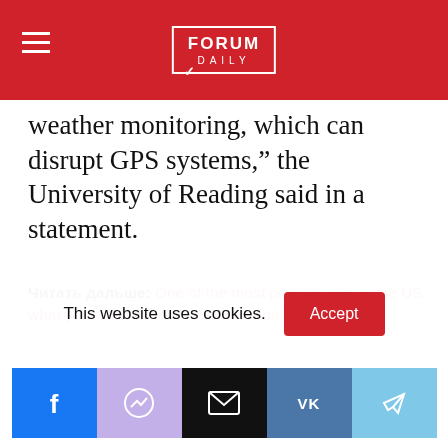Forum Daily
weather monitoring, which can disrupt GPS systems," the University of Reading said in a statement.
Читать дальше: One of the most popular cars in the US: what you need to know about Honda Accord "
space
Hurricane
scientists
Read also on ForumDaily:
This website uses cookies.
Social share icons: Facebook, Messenger, Email, VK, Telegram